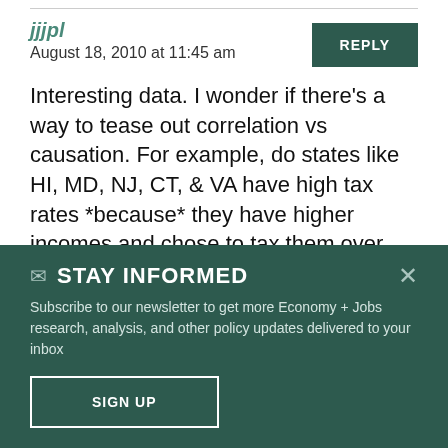jjjpl
August 18, 2010 at 11:45 am
Interesting data. I wonder if there's a way to tease out correlation vs causation. For example, do states like HI, MD, NJ, CT, & VA have high tax rates *because* they have higher incomes and chose to tax them over
STAY INFORMED
Subscribe to our newsletter to get more Economy + Jobs research, analysis, and other policy updates delivered to your inbox